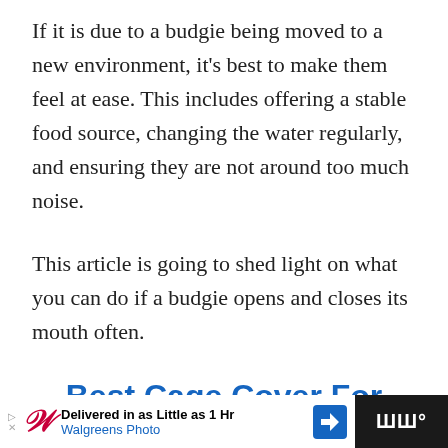If it is due to a budgie being moved to a new environment, it's best to make them feel at ease. This includes offering a stable food source, changing the water regularly, and ensuring they are not around too much noise.
This article is going to shed light on what you can do if a budgie opens and closes its mouth often.
Best Cage Cover For Budgies (EDITOR'S CHOICE)
[Figure (other): Walgreens Photo advertisement banner: 'Delivered in as Little as 1 Hr / Walgreens Photo' with logo, navigation arrow icon, and media control icon on dark background.]